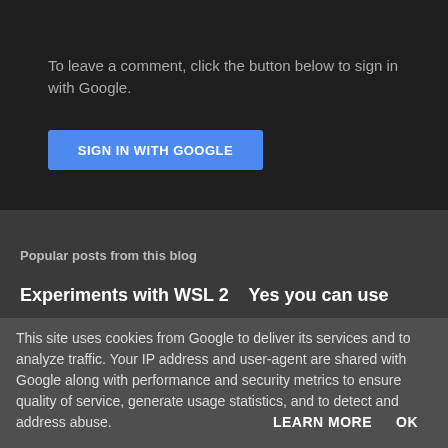To leave a comment, click the button below to sign in with Google.
[Figure (screenshot): Blue 'SIGN IN WITH GOOGLE' button]
Popular posts from this blog
Experiments with WSL 2    Yes you can use
This site uses cookies from Google to deliver its services and to analyze traffic. Your IP address and user-agent are shared with Google along with performance and security metrics to ensure quality of service, generate usage statistics, and to detect and address abuse.
LEARN MORE    OK